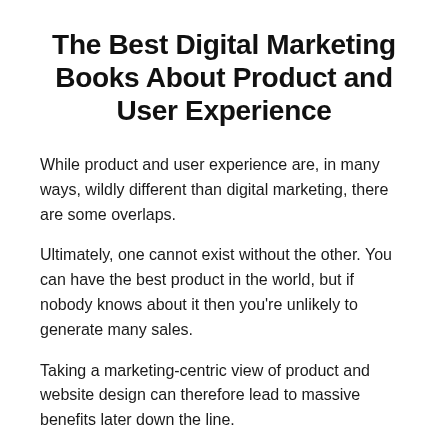The Best Digital Marketing Books About Product and User Experience
While product and user experience are, in many ways, wildly different than digital marketing, there are some overlaps.
Ultimately, one cannot exist without the other. You can have the best product in the world, but if nobody knows about it then you're unlikely to generate many sales.
Taking a marketing-centric view of product and website design can therefore lead to massive benefits later down the line.